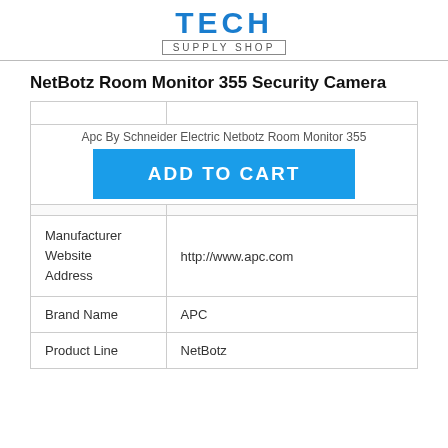[Figure (logo): Tech Supply Shop logo with TECH in bold blue letters and SUPPLY SHOP in a bordered box below]
NetBotz Room Monitor 355 Security Camera
Apc By Schneider Electric Netbotz Room Monitor 355
ADD TO CART
| Manufacturer Website Address | http://www.apc.com |
| --- | --- |
| Brand Name | APC |
| Product Line | NetBotz |